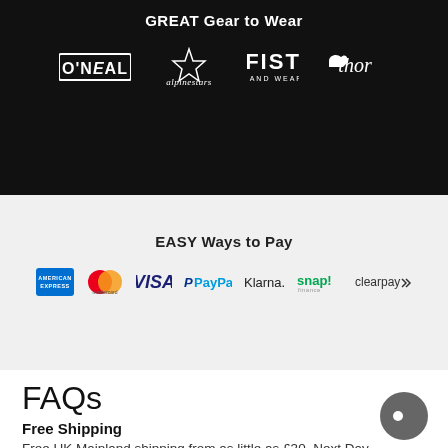GREAT Gear to Wear
[Figure (logo): Brand logos on black background: O'Neal, Alpinestars, FIST Handwear, Thor]
EASY Ways to Pay
[Figure (logo): Payment method logos: American Express, Mastercard, Visa, PayPal, Klarna, snap! finance, clearpay]
FAQs
Free Shipping
Free UK Mainland shipping from as little as £30. Next Day